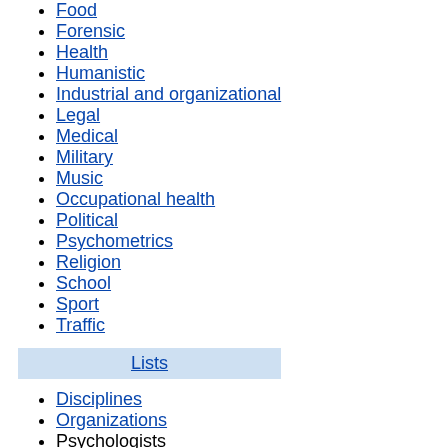Food
Forensic
Health
Humanistic
Industrial and organizational
Legal
Medical
Military
Music
Occupational health
Political
Psychometrics
Religion
School
Sport
Traffic
Lists
Disciplines
Organizations
Psychologists
Psychotherapies
Research methods
Theories
Timeline